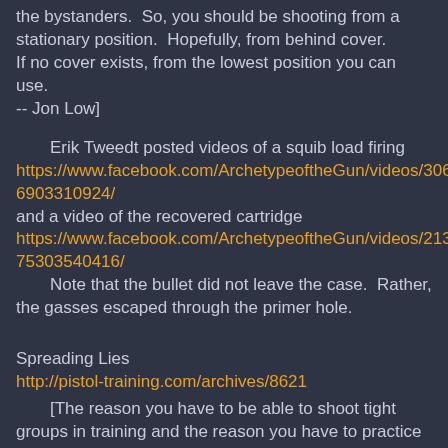the bystanders.  So, you should be shooting from a stationary position.  Hopefully, from behind cover.
If no cover exists, from the lowest position you can use.
-- Jon Low]
Erik Tweedt posted videos of a squib load firing https://www.facebook.com/ArchetypeoftheGun/videos/306226903310924/ and a video of the recovered cartridge https://www.facebook.com/ArchetypeoftheGun/videos/213377 5303540416/
Note that the bullet did not leave the case.  Rather, the gasses escaped through the primer hole.
Spreading Lies
http://pistol-training.com/archives/8621
[The reason you have to be able to shoot tight groups in training and the reason you have to practice to get into the habit of shooting tight groups, is because in a high stress situation your groups will open up quite a bit.
-- Jon Low]